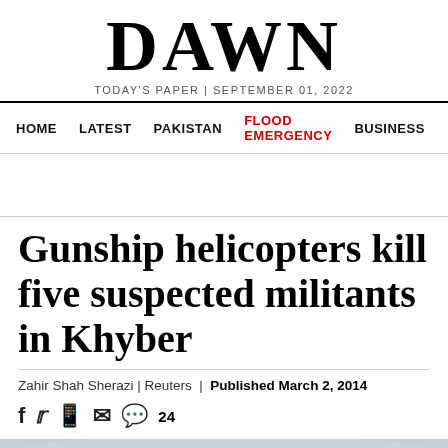DAWN
TODAY'S PAPER | SEPTEMBER 01, 2022
HOME  LATEST  PAKISTAN  FLOOD EMERGENCY  BUSINESS
Gunship helicopters kill five suspected militants in Khyber
Zahir Shah Sherazi | Reuters | Published March 2, 2014
[Figure (photo): Partial view of a helicopter, gray tones, cropped at bottom of page]